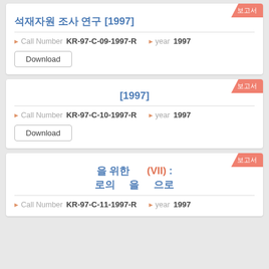석재자원 조사 연구 [1997]
Call Number KR-97-C-09-1997-R  year 1997
Download
[1997]
Call Number KR-97-C-10-1997-R  year 1997
Download
을 위한 (VII) : 로의 을 으로
Call Number KR-97-C-11-1997-R  year 1997